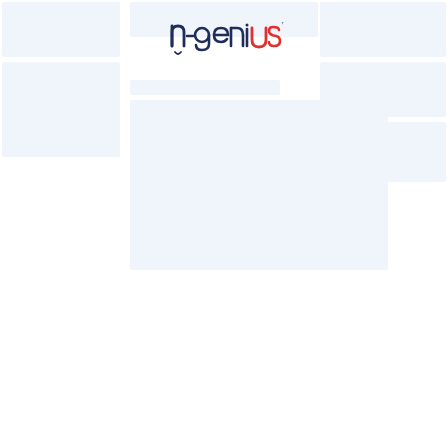[Figure (logo): n-genius logo with dark navy lowercase 'n-geni' text and red 'US' text, with a small arc/smile under the 'n', and a trademark superscript symbol]